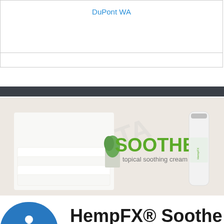DuPont WA
[Figure (photo): Advertisement banner for HempFX Soothe topical soothing cream. Left side shows white folded towels with a small aloe plant. Right side shows the product bottle. Green text reads SOOTHE with subtitle topical soothing cream.]
HempFX® Soothe